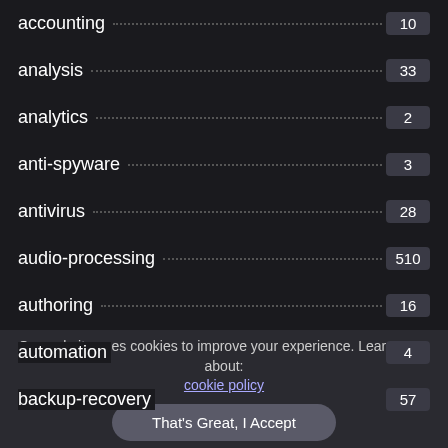accounting 10
analysis 33
analytics 2
anti-spyware 3
antivirus 28
audio-processing 510
authoring 16
automation 4
backup-recovery 57
Our website uses cookies to improve your experience. Learn more about: cookie policy
That's Great, I Accept